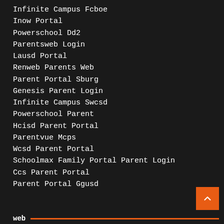Infinite Campus Fcboe
Inow Portal
Powerschool Dd2
Parentsweb Login
Lausd Portal
Renweb Parents Web
Parent Portal Sburg
Genesis Parent Login
Infinite Campus Swcsd
Powerschool Parent
Hcisd Parent Portal
Parentvue Mcps
Wcsd Parent Portal
Schoolmax Family Portal Parent Login
Ccs Parent Portal
Parent Portal Ggusd
web